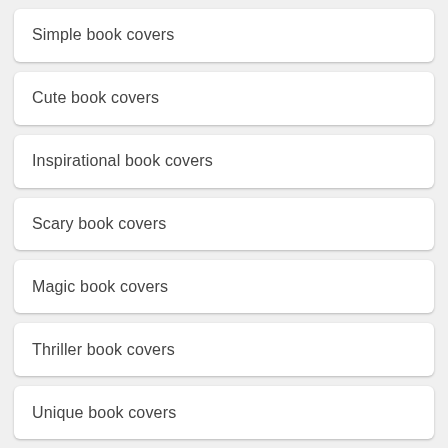Simple book covers
Cute book covers
Inspirational book covers
Scary book covers
Magic book covers
Thriller book covers
Unique book covers